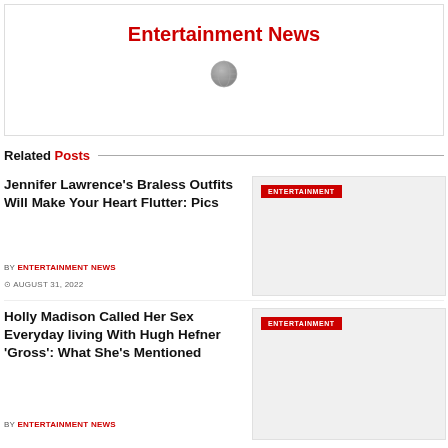Entertainment News
[Figure (illustration): Globe icon placeholder image]
Related Posts
Jennifer Lawrence's Braless Outfits Will Make Your Heart Flutter: Pics
BY ENTERTAINMENT NEWS
AUGUST 31, 2022
[Figure (photo): Entertainment labeled image placeholder for Jennifer Lawrence article]
Holly Madison Called Her Sex Everyday living With Hugh Hefner 'Gross': What She's Mentioned
BY ENTERTAINMENT NEWS
[Figure (photo): Entertainment labeled image placeholder for Holly Madison article]